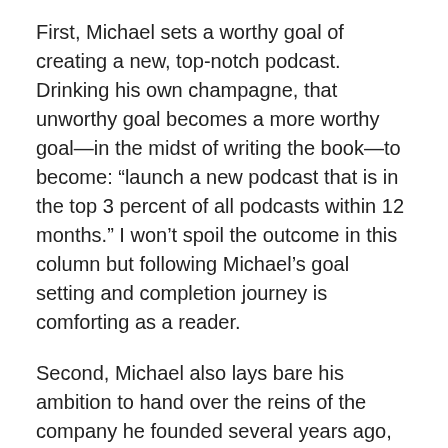First, Michael sets a worthy goal of creating a new, top-notch podcast. Drinking his own champagne, that unworthy goal becomes a more worthy goal—in the midst of writing the book—to become: “launch a new podcast that is in the top 3 percent of all podcasts within 12 months.” I won’t spoil the outcome in this column but following Michael’s goal setting and completion journey is comforting as a reader.
Second, Michael also lays bare his ambition to hand over the reins of the company he founded several years ago, Box of Crayons, to a new CEO. The goal is eventually set as “role-model a gracious, generous, and trusting transfer of power.” This business example provides a different goal setting and completion context for the reader, which many teams or organizations will undoubtedly appreciate.
Michael possesses a unique writing style that often softens